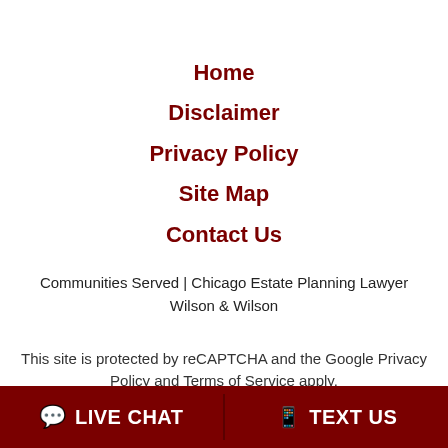Home
Disclaimer
Privacy Policy
Site Map
Contact Us
Communities Served | Chicago Estate Planning Lawyer Wilson & Wilson
This site is protected by reCAPTCHA and the Google Privacy Policy and Terms of Service apply.
LIVE CHAT   TEXT US